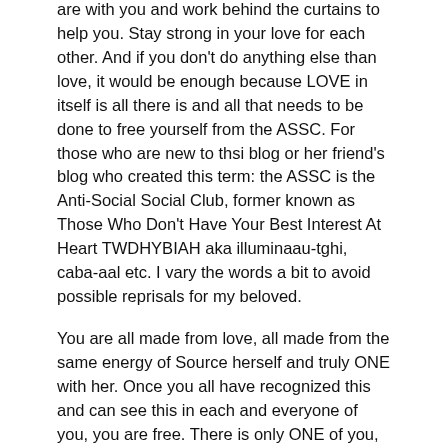are with you and work behind the curtains to help you. Stay strong in your love for each other. And if you don't do anything else than love, it would be enough because LOVE in itself is all there is and all that needs to be done to free yourself from the ASSC. For those who are new to thsi blog or her friend's blog who created this term: the ASSC is the Anti-Social Social Club, former known as Those Who Don't Have Your Best Interest At Heart TWDHYBIAH aka illuminaau-tghi, caba-aal etc. I vary the words a bit to avoid possible reprisals for my beloved.
You are all made from love, all made from the same energy of Source herself and truly ONE with her. Once you all have recognized this and can see this in each and everyone of you, you are free. There is only ONE of you, in a truly beautiful diversity of life.
Hasn't one of my sons told you that what you do to another you do to yourself? He was and still is right with this because he knows that we are all ONE.
I love you, more than you know or can imagine.